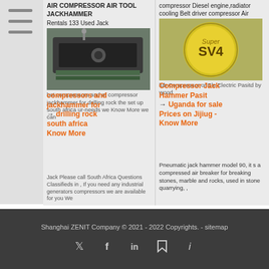AIR COMPRESSOR AIR TOOL JACKHAMMER Rentals 133 Used Jack
[Figure (photo): Industrial jackhammer/compressor equipment in a factory setting]
compressors and jackhammer for drilling rock south africa Know More
Compressor Jack Hammer Pasit Uganda for sale Prices on Jijiug - Know More
compressor Diesel engine,radiator cooling Belt driver compressor Air
[Figure (photo): Yellow SV4 Super compressor unit close-up]
Compressor Jack Hammer Pasit Uganda for sale Prices on Jijiug - Know More
bot compressors and of compressor jackhammer for drilling rock the set up south africa ur-needs we Know More we can
Jack Please call South Africa Questions Classifieds in , If you need any industrial generators compressors we are available for you We
Prev: mining equipment company in japan Next: carboxymethyl starch proton nmr
lub Compressor or Ele Electric Pasitd by wood Pneumatic jack hammer model 90, it s a compressed air breaker for breaking stones, marble and rocks, used in stone quarrying, ,
Shanghai ZENIT Company © 2021 - 2022 Copyrights. - sitemap